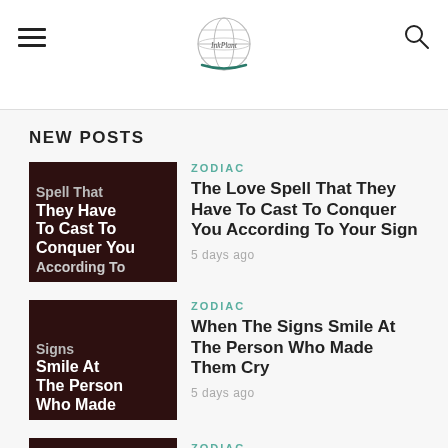Navigation header with hamburger menu, globe logo, and search icon
NEW POSTS
[Figure (photo): Dark brown thumbnail image with white bold text reading 'Spell That They Have To Cast To Conquer You According To']
ZODIAC
The Love Spell That They Have To Cast To Conquer You According To Your Sign
5 days ago
[Figure (photo): Dark brown thumbnail image with white bold text reading 'Signs Smile At The Person Who Made']
ZODIAC
When The Signs Smile At The Person Who Made Them Cry
5 days ago
[Figure (photo): Partially visible dark brown thumbnail image at the bottom]
ZODIAC